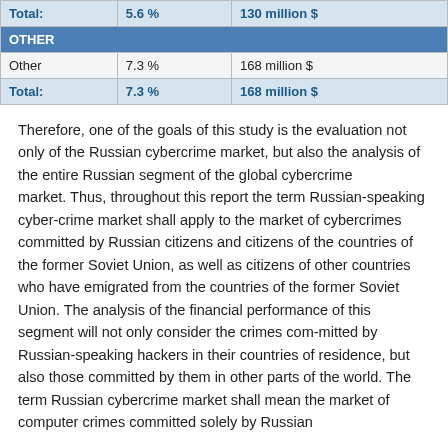|  |  |  |
| --- | --- | --- |
| Total: | 5.6 % | 130 million $ |
| OTHER |  |  |
| Other | 7.3 % | 168 million $ |
| Total: | 7.3 % | 168 million $ |
Therefore, one of the goals of this study is the evaluation not only of the Russian cybercrime market, but also the analysis of the entire Russian segment of the global cybercrime market. Thus, throughout this report the term Russian-speaking cyber-crime market shall apply to the market of cybercrimes committed by Russian citizens and citizens of the countries of the former Soviet Union, as well as citizens of other countries who have emigrated from the countries of the former Soviet Union. The analysis of the financial performance of this segment will not only consider the crimes com-mitted by Russian-speaking hackers in their countries of residence, but also those committed by them in other parts of the world. The term Russian cybercrime market shall mean the market of computer crimes committed solely by Russian